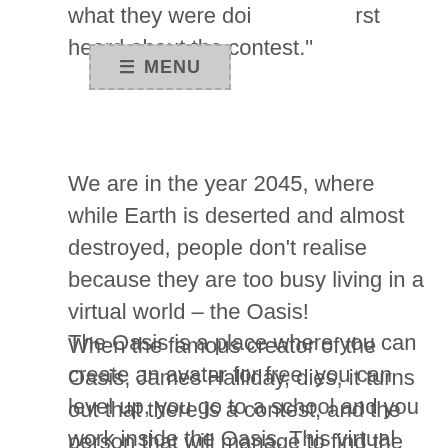what they were doing when they first heard about the contest."
[Figure (other): A grey menu button with dashed border showing three horizontal lines and the word MENU]
We are in the year 2045, where while Earth is deserted and almost destroyed, people don't realise because they are too busy living in a virtual world – the Oasis!
The Oasis is a place where you can create an avatar for free, you can level up, you go to a school and you work inside the Oasis. This virtual world is filled with references from the 1980s. Cities are built in such a way, video games and books and movies still go on.
When the famous creator of the Oasis, James Halliday, dies, it turns out that there is a contest, and the person that will manage to find the "egg" would inherit ownership of the Oasis.